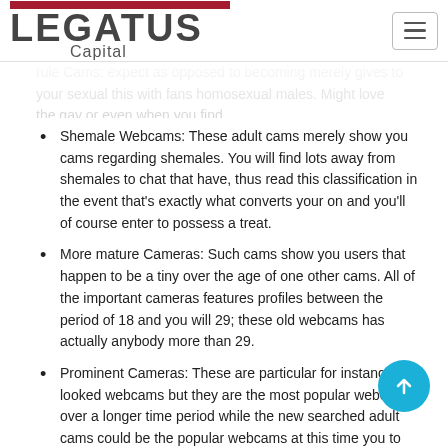Legatus Capital
Shemale Webcams: These adult cams merely show you cams regarding shemales. You will find lots away from shemales to chat that have, thus read this classification in the event that's exactly what converts your on and you'll of course enter to possess a treat.
More mature Cameras: Such cams show you users that happen to be a tiny over the age of one other cams. All of the important cameras features profiles between the period of 18 and you will 29; these old webcams has actually anybody more than 29.
Prominent Cameras: These are particular for instance the looked webcams but they are the most popular webcams over a longer time period while the new searched adult cams could be the popular webcams at this time you to definitely you are online. This enables that select activities which were at the upper checklist for some time.